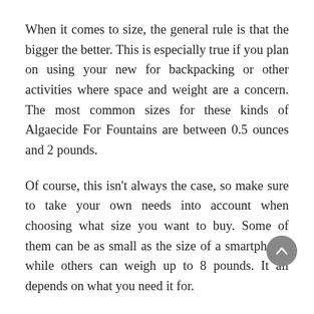When it comes to size, the general rule is that the bigger the better. This is especially true if you plan on using your new for backpacking or other activities where space and weight are a concern. The most common sizes for these kinds of Algaecide For Fountains are between 0.5 ounces and 2 pounds.
Of course, this isn't always the case, so make sure to take your own needs into account when choosing what size you want to buy. Some of them can be as small as the size of a smartphone, while others can weigh up to 8 pounds. It all depends on what you need it for.
Conclusion: